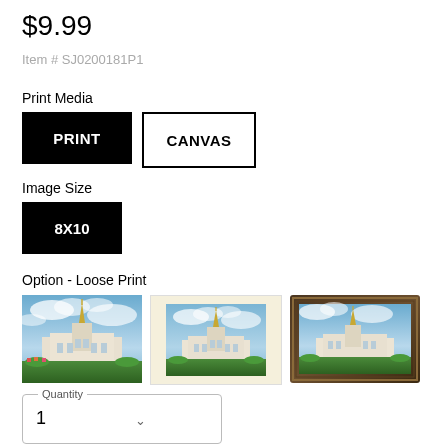$9.99
Item # SJ0200181P1
Print Media
PRINT
CANVAS
Image Size
8X10
Option - Loose Print
[Figure (photo): Three thumbnail images of a temple with golden spire against cloudy blue sky: first is borderless print, second has cream/mat border, third has dark ornate frame]
Quantity
1